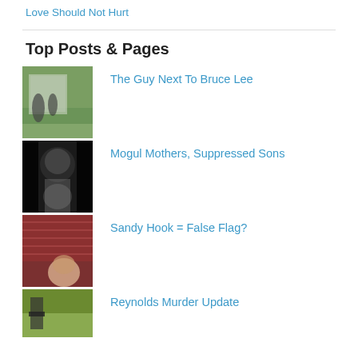Love Should Not Hurt
Top Posts & Pages
[Figure (photo): Outdoor photo with grass and figures near a building]
The Guy Next To Bruce Lee
[Figure (photo): Dark photo of a person with long white beard]
Mogul Mothers, Suppressed Sons
[Figure (photo): Photo of a person in front of a brick wall]
Sandy Hook = False Flag?
[Figure (photo): Partial green/outdoor photo at bottom]
Reynolds Murder Update